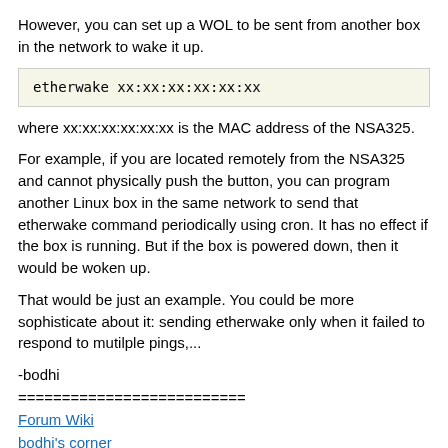However, you can set up a WOL to be sent from another box in the network to wake it up.
where xx:xx:xx:xx:xx:xx is the MAC address of the NSA325.
For example, if you are located remotely from the NSA325 and cannot physically push the button, you can program another Linux box in the same network to send that etherwake command periodically using cron. It has no effect if the box is running. But if the box is powered down, then it would be woken up.
That would be just an example. You could be more sophisticate about it: sending etherwake only when it failed to respond to mutilple pings,...
-bodhi
==========================
Forum Wiki
bodhi's corner